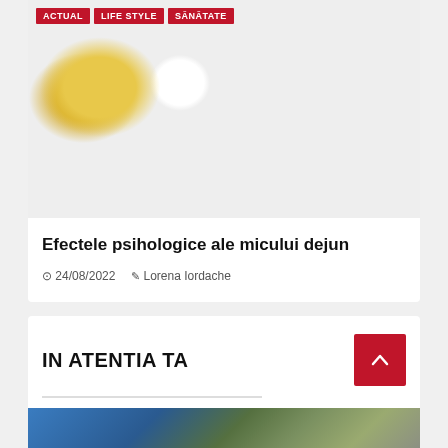[Figure (photo): Overhead view of a breakfast spread including omelettes, fruit salad, orange juice, bacon, waffles with syrup, and various dishes on a wooden table]
Efectele psihologice ale micului dejun
24/08/2022   Lorena Iordache
IN ATENTIA TA
[Figure (photo): Partial view of a building exterior, bottom of page with ACTUAL and TIMISOARA tags visible]